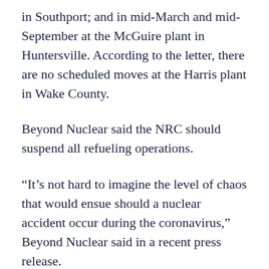in Southport; and in mid-March and mid-September at the McGuire plant in Huntersville. According to the letter, there are no scheduled moves at the Harris plant in Wake County.
Beyond Nuclear said the NRC should suspend all refueling operations.
“It’s not hard to imagine the level of chaos that would ensue should a nuclear accident occur during the coronavirus,” Beyond Nuclear said in a recent press release.
An imperfect safety record